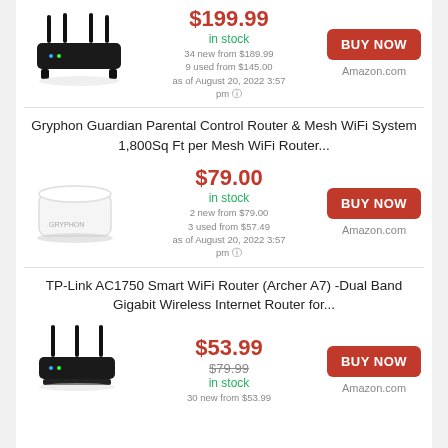[Figure (illustration): Black WiFi router with four antennas]
$199.99
in stock
34 new from $189.99
9 used from $145.00
as of August 20, 2022 3:57 pm
BUY NOW
Amazon.com
Gryphon Guardian Parental Control Router & Mesh WiFi System 1,800Sq Ft per Mesh WiFi Router...
[Figure (illustration): White square mesh WiFi router device]
$79.00
in stock
2 new from $79.00
3 used from $57.49
as of August 20, 2022 3:57 pm
BUY NOW
Amazon.com
TP-Link AC1750 Smart WiFi Router (Archer A7) -Dual Band Gigabit Wireless Internet Router for...
[Figure (illustration): Black WiFi router with three antennas]
$53.99
$79.99
in stock
30 new from $53.99
BUY NOW
Amazon.com